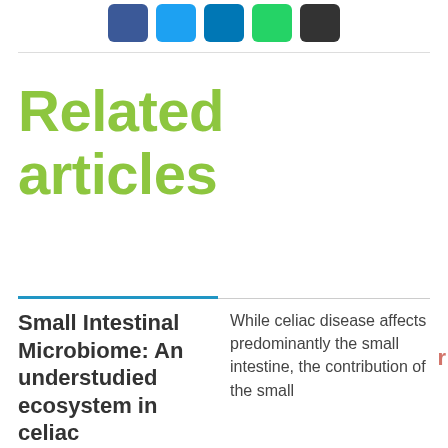[Figure (other): Social media share buttons: Facebook (blue), Twitter (light blue), LinkedIn (dark blue), WhatsApp (green), Email/share (black)]
Related articles
Small Intestinal Microbiome: An understudied ecosystem in celiac
While celiac disease affects predominantly the small intestine, the contribution of the small